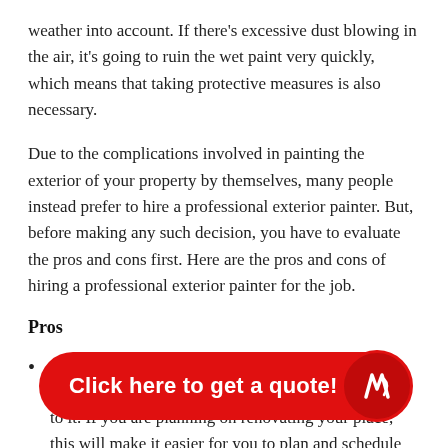weather into account. If there's excessive dust blowing in the air, it's going to ruin the wet paint very quickly, which means that taking protective measures is also necessary.
Due to the complications involved in painting the exterior of your property by themselves, many people instead prefer to hire a professional exterior painter. But, before making any such decision, you have to evaluate the pros and cons first. Here are the pros and cons of hiring a professional exterior painter for the job.
Pros
A professional exterior painter will give you a timeframe for the work and make sure that they stick to it. If you are planning on renovating your place, this will make it easier for you to plan and schedule accordingly. Hiring a professional exterior painter will bring some amount of predictability into the decision-making process, as you will have an idea of when the work will be completed so that you can move on…
A professional… tools and know how to paint the exterior walls properly.
[Figure (other): Red CTA button overlay with text 'Click here to get a quote!' and a circular logo icon on the right.]